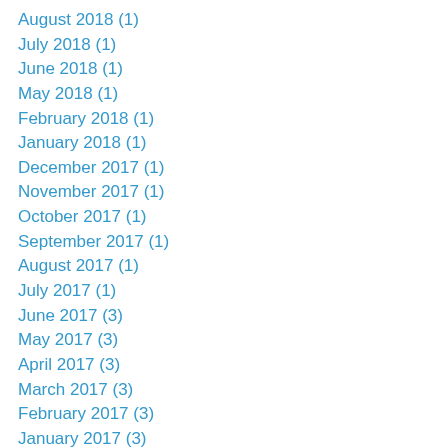August 2018 (1)
July 2018 (1)
June 2018 (1)
May 2018 (1)
February 2018 (1)
January 2018 (1)
December 2017 (1)
November 2017 (1)
October 2017 (1)
September 2017 (1)
August 2017 (1)
July 2017 (1)
June 2017 (3)
May 2017 (3)
April 2017 (3)
March 2017 (3)
February 2017 (3)
January 2017 (3)
December 2016 (3)
November 2016 (4)